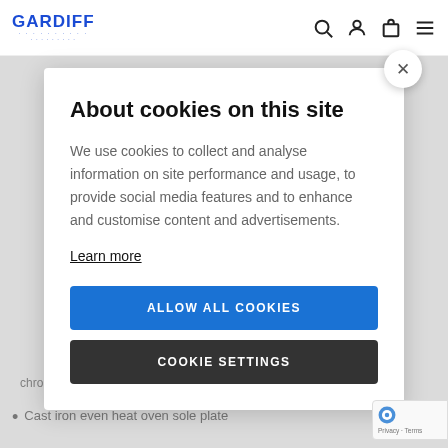GARDIFF
About cookies on this site
We use cookies to collect and analyse information on site performance and usage, to provide social media features and to enhance and customise content and advertisements.
Learn more
ALLOW ALL COOKIES
COOKIE SETTINGS
chrome rack supports
Cast iron even heat oven sole plate